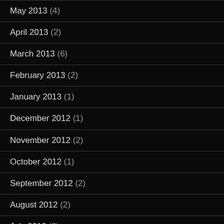May 2013 (4)
April 2013 (2)
March 2013 (6)
February 2013 (2)
January 2013 (1)
December 2012 (1)
November 2012 (2)
October 2012 (1)
September 2012 (2)
August 2012 (2)
July 2012 (3)
June 2012 (3)
May 2012 (4)